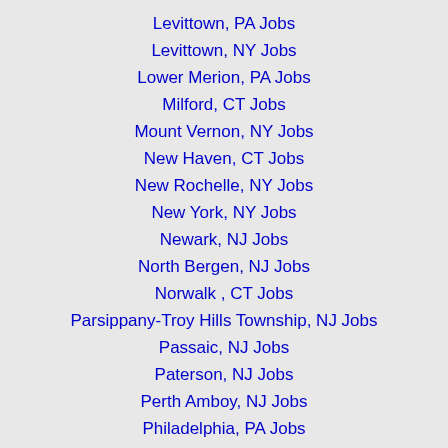Levittown, PA Jobs
Levittown, NY Jobs
Lower Merion, PA Jobs
Milford, CT Jobs
Mount Vernon, NY Jobs
New Haven, CT Jobs
New Rochelle, NY Jobs
New York, NY Jobs
Newark, NJ Jobs
North Bergen, NJ Jobs
Norwalk , CT Jobs
Parsippany-Troy Hills Township, NJ Jobs
Passaic, NJ Jobs
Paterson, NJ Jobs
Perth Amboy, NJ Jobs
Philadelphia, PA Jobs
Plainfield, NJ Jobs
Reading, PA Jobs